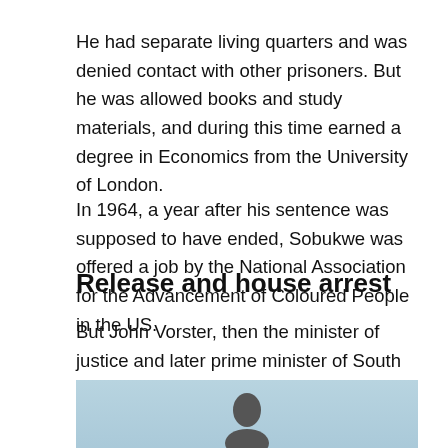He had separate living quarters and was denied contact with other prisoners. But he was allowed books and study materials, and during this time earned a degree in Economics from the University of London.
In 1964, a year after his sentence was supposed to have ended, Sobukwe was offered a job by the National Association for the Advancement of Coloured People in the US.
But John Vorster, then the minister of justice and later prime minister of South Africa, refused to allow him to leave the country.
Release and house arrest
[Figure (photo): Black and white portrait photo of a person, partially visible at the bottom of the page, against a light blue background.]